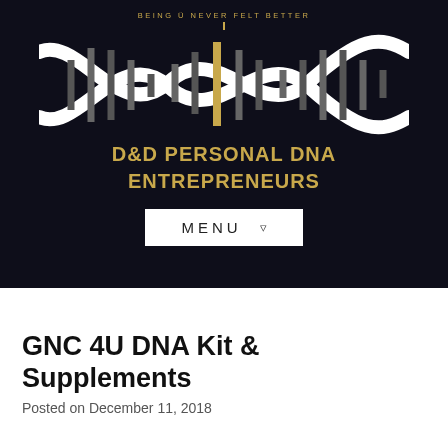[Figure (logo): D&D Personal DNA Entrepreneurs logo with DNA double helix graphic on dark background and tagline 'BEING Ü NEVER FELT BETTER']
GNC 4U DNA Kit & Supplements
Posted on December 11, 2018